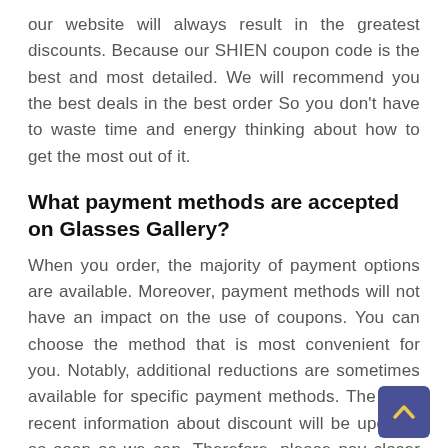our website will always result in the greatest discounts. Because our SHIEN coupon code is the best and most detailed. We will recommend you the best deals in the best order So you don't have to waste time and energy thinking about how to get the most out of it.
What payment methods are accepted on Glasses Gallery?
When you order, the majority of payment options are available. Moreover, payment methods will not have an impact on the use of coupons. You can choose the method that is most convenient for you. Notably, additional reductions are sometimes available for specific payment methods. The most recent information about discount will be updated as soon as we can. Therefore, please pay closer attention to our website if you want to receive the best deal.